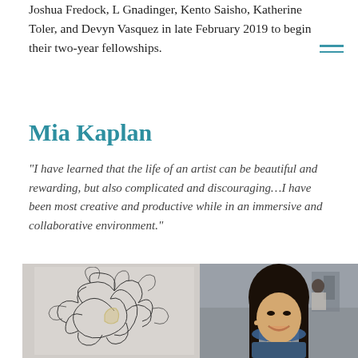Joshua Fredock, L Gnadinger, Kento Saisho, Katherine Toler, and Devyn Vasquez in late February 2019 to begin their two-year fellowships.
Mia Kaplan
“I have learned that the life of an artist can be beautiful and rewarding, but also complicated and discouraging…I have been most creative and productive while in an immersive and collaborative environment.”
[Figure (photo): Two photos side by side: on the left, a wire sculpture that appears to be a tangled, abstract bird or animal form made of dark wire or similar material. On the right, a portrait photo of a young Asian woman smiling, with long dark hair, in what appears to be a gallery or event space.]